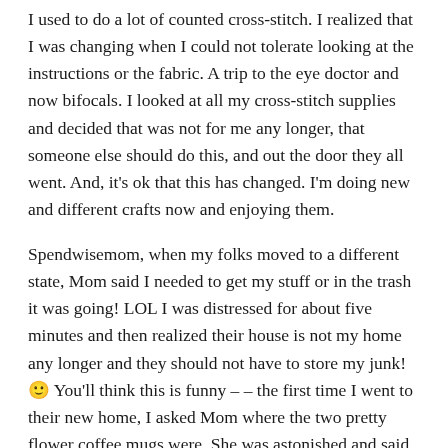I used to do a lot of counted cross-stitch. I realized that I was changing when I could not tolerate looking at the instructions or the fabric. A trip to the eye doctor and now bifocals. I looked at all my cross-stitch supplies and decided that was not for me any longer, that someone else should do this, and out the door they all went. And, it's ok that this has changed. I'm doing new and different crafts now and enjoying them.
Spendwisemom, when my folks moved to a different state, Mom said I needed to get my stuff or in the trash it was going! LOL I was distressed for about five minutes and then realized their house is not my home any longer and they should not have to store my junk! 🙂 You'll think this is funny – – the first time I went to their new home, I asked Mom where the two pretty flower coffee mugs were. She was astonished and said that they had donated them when they left the other house! She had not thought that I would want them. Darn!
[Figure (illustration): Red heart emoji/icon]